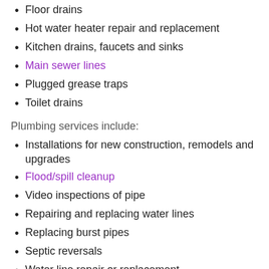Floor drains
Hot water heater repair and replacement
Kitchen drains, faucets and sinks
Main sewer lines
Plugged grease traps
Toilet drains
Plumbing services include:
Installations for new construction, remodels and upgrades
Flood/spill cleanup
Video inspections of pipe
Repairing and replacing water lines
Replacing burst pipes
Septic reversals
Water line repair or replacement
Water heater repair or replacement
Drain cleaning